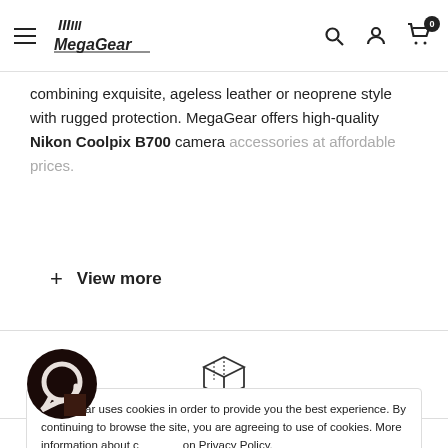MegaGear
combining exquisite, ageless leather or neoprene style with rugged protection. MegaGear offers high-quality Nikon Coolpix B700 camera accessories at affordable prices.
+ View more
[Figure (illustration): Box/package icon representing world-wide shipping]
World-Wide Shipping
MegaGear uses cookies in order to provide you the best experience. By continuing to browse the site, you are agreeing to use of cookies. More information about cookies on Privacy Policy.
[Figure (logo): Chat support circular icon/logo, dark brown color]
ABOUT MEGAGEAR